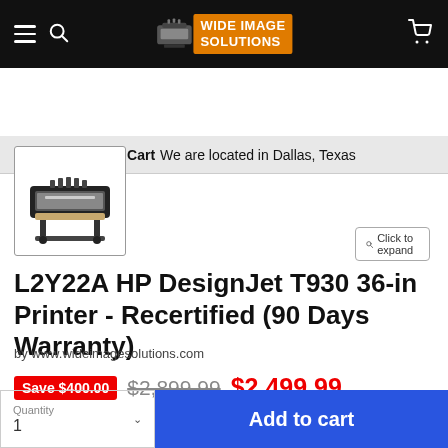Wide Image Solutions — Your Cart  We are located in Dallas, Texas
[Figure (screenshot): Click to expand button with magnifier icon]
[Figure (photo): Thumbnail image of HP DesignJet T930 large format printer]
L2Y22A HP DesignJet T930 36-in Printer - Recertified (90 Days Warranty)
by www.wideimagesolutions.com
Save $400.00  $2,899.99  $2,499.99
Quantity 1  Add to cart